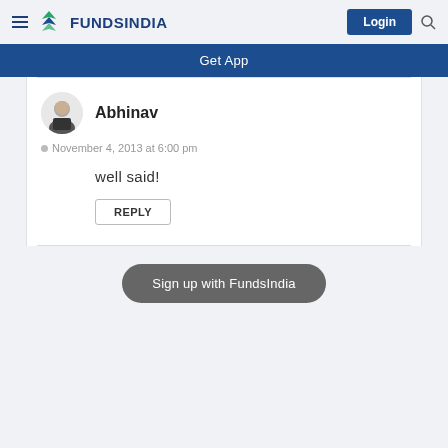FundsIndia
Get App
Abhinav
November 4, 2013 at 6:00 pm
well said!
REPLY
Sign up with FundsIndia